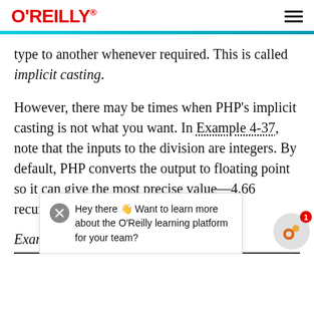O'REILLY
type to another whenever required. This is called implicit casting.
However, there may be times when PHP's implicit casting is not what you want. In Example 4-37, note that the inputs to the division are integers. By default, PHP converts the output to floating point so it can give the most precise value—4.66 recurring.
Example 4-37. Creating floating-point numbers